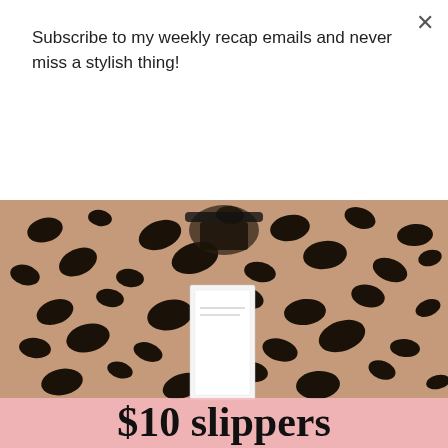Subscribe to my weekly recap emails and never miss a stylish thing!
Subscribe
[Figure (photo): Close-up photo of leopard print slippers/shoes in tan and black pattern, hung on a hanger with a white price tag hanging from them. A pink price banner overlay reads '$10 slippers' at the bottom.]
$10 slippers